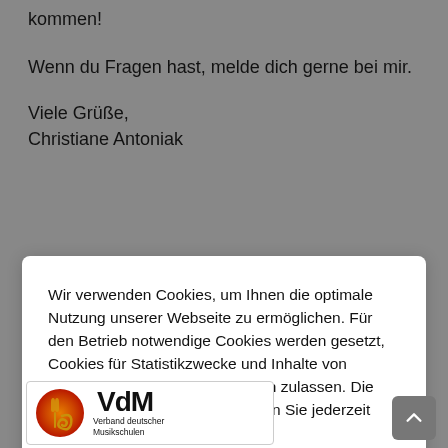kommen!
Wenn du Fragen hast, melde dich gerne bei mir.
Viele Grüße,
Christiane Antoniak
Wir verwenden Cookies, um Ihnen die optimale Nutzung unserer Webseite zu ermöglichen. Für den Betrieb notwendige Cookies werden gesetzt, Cookies für Statistikzwecke und Inhalte von Drittanbietern können Sie einzeln zulassen. Die Datenschutzeinstellungen können Sie jederzeit anpassen.
[Figure (logo): VdM - Verband deutscher Musikschulen logo with orange/red circular tuning fork graphic]